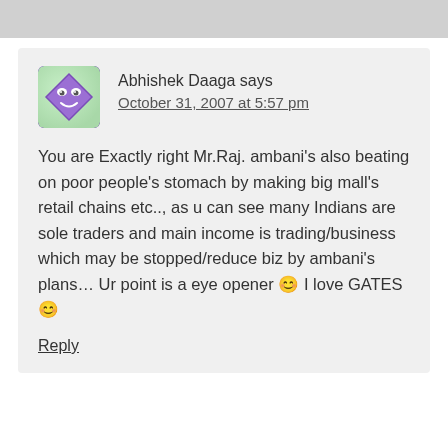Abhishek Daaga says
October 31, 2007 at 5:57 pm
You are Exactly right Mr.Raj. ambani's also beating on poor people's stomach by making big mall's retail chains etc.., as u can see many Indians are sole traders and main income is trading/business which may be stopped/reduce biz by ambani's plans… Ur point is a eye opener 😊 I love GATES 😊
Reply